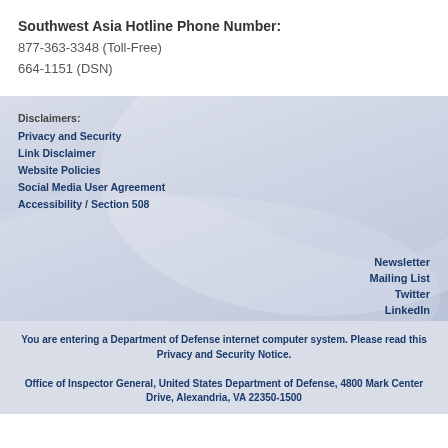Southwest Asia Hotline Phone Number:
877-363-3348 (Toll-Free)
664-1151 (DSN)
Disclaimers:
Privacy and Security
Link Disclaimer
Website Policies
Social Media User Agreement
Accessibility / Section 508
Newsletter
Mailing List
Twitter
LinkedIn
You are entering a Department of Defense internet computer system. Please read this Privacy and Security Notice.
Office of Inspector General, United States Department of Defense, 4800 Mark Center Drive, Alexandria, VA 22350-1500